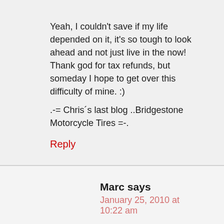Yeah, I couldn't save if my life depended on it, it's so tough to look ahead and not just live in the now! Thank god for tax refunds, but someday I hope to get over this difficulty of mine. :)
.-= Chris´s last blog ..Bridgestone Motorcycle Tires =-.
Reply
Marc says
January 25, 2010 at 10:22 am